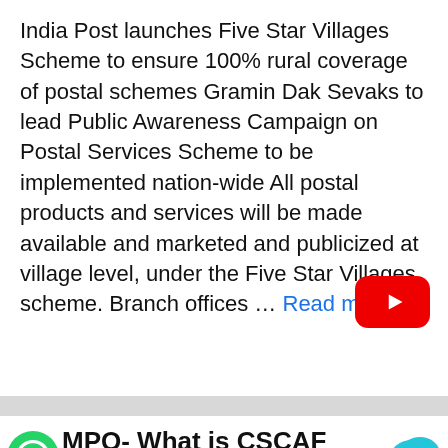India Post launches Five Star Villages Scheme to ensure 100% rural coverage of postal schemes Gramin Dak Sevaks to lead Public Awareness Campaign on Postal Services Scheme to be implemented nation-wide All postal products and services will be made available and marketed and publicized at village level, under the Five Star Villages scheme. Branch offices … Read more
[Figure (logo): YouTube play button icon (red rounded rectangle with white triangle)]
MPQ- What is CSCAF 2.0?
[Figure (infographic): Bottom navigation bar with icons for Tests, Prelims, Mains, Login, DMPQ]